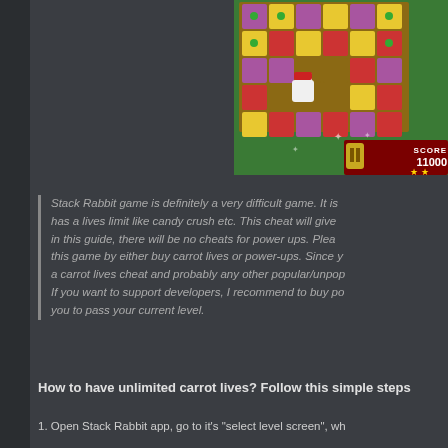[Figure (screenshot): Stack Rabbit game screenshot showing a grid-based puzzle with colorful items (strawberries, blueberries, yellow boxes) arranged in a wooden board on a green field. A white rabbit character with a red hat is visible. Score display shows SCORE 11000 with star rating at bottom right.]
Stack Rabbit game is definitely a very difficult game. It is has a lives limit like candy crush etc. This cheat will give in this guide, there will be no cheats for power ups. Plea this game by either buy carrot lives or power-ups. Since y a carrot lives cheat and probably any other popular/unpo If you want to support developers, I recommend to buy p you to pass your current level.
How to have unlimited carrot lives? Follow this simple steps
1. Open Stack Rabbit app, go to it's "select level screen", wh